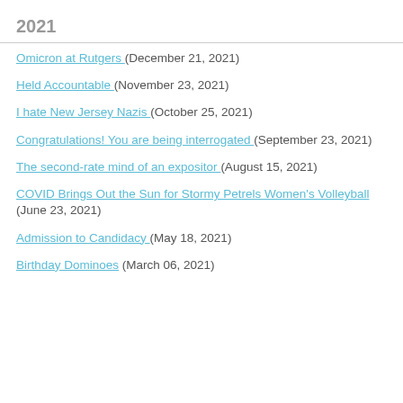2021
Omicron at Rutgers (December 21, 2021)
Held Accountable (November 23, 2021)
I hate New Jersey Nazis (October 25, 2021)
Congratulations! You are being interrogated (September 23, 2021)
The second-rate mind of an expositor (August 15, 2021)
COVID Brings Out the Sun for Stormy Petrels Women's Volleyball (June 23, 2021)
Admission to Candidacy (May 18, 2021)
Birthday Dominoes (March 06, 2021)